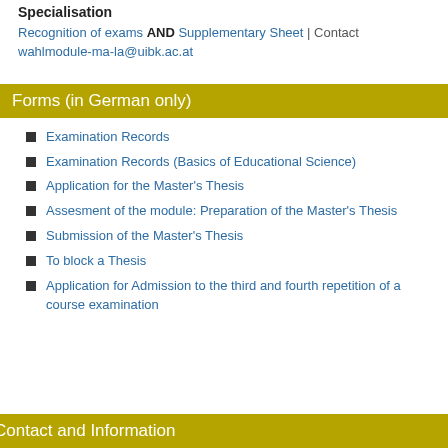Specialisation
Recognition of exams AND Supplementary Sheet | Contact wahlmodule-ma-la@uibk.ac.at
Forms (in German only)
Examination Records
Examination Records (Basics of Educational Science)
Application for the Master's Thesis
Assesment of the module: Preparation of the Master's Thesis
Submission of the Master's Thesis
To block a Thesis
Application for Admission to the third and fourth repetition of a course examination
Contact and Information